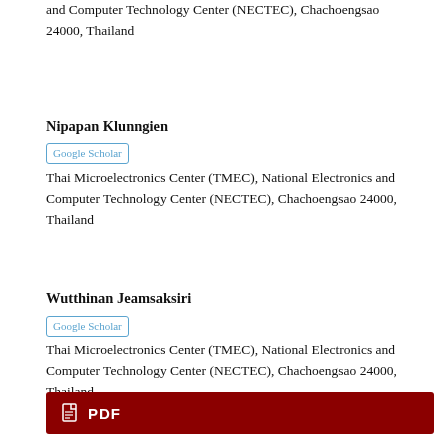and Computer Technology Center (NECTEC), Chachoengsao 24000, Thailand
Nipapan Klunngien
Google Scholar
Thai Microelectronics Center (TMEC), National Electronics and Computer Technology Center (NECTEC), Chachoengsao 24000, Thailand
Wutthinan Jeamsaksiri
Google Scholar
Thai Microelectronics Center (TMEC), National Electronics and Computer Technology Center (NECTEC), Chachoengsao 24000, Thailand
[Figure (other): PDF button - dark red rectangle with PDF label and document icon]